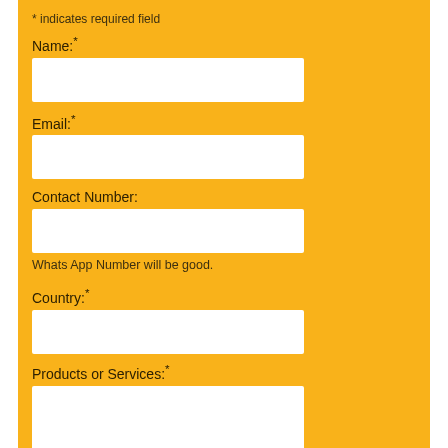* indicates required field
Name:*
Email:*
Contact Number:
Whats App Number will be good.
Country:*
Products or Services:*